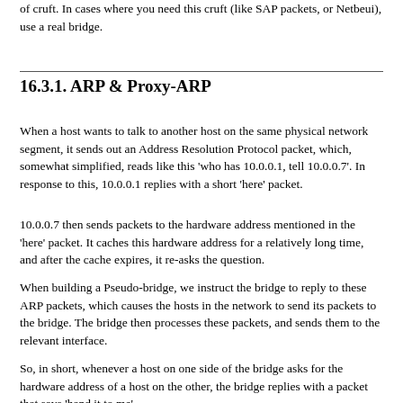of cruft. In cases where you need this cruft (like SAP packets, or Netbeui), use a real bridge.
16.3.1. ARP & Proxy-ARP
When a host wants to talk to another host on the same physical network segment, it sends out an Address Resolution Protocol packet, which, somewhat simplified, reads like this 'who has 10.0.0.1, tell 10.0.0.7'. In response to this, 10.0.0.1 replies with a short 'here' packet.
10.0.0.7 then sends packets to the hardware address mentioned in the 'here' packet. It caches this hardware address for a relatively long time, and after the cache expires, it re-asks the question.
When building a Pseudo-bridge, we instruct the bridge to reply to these ARP packets, which causes the hosts in the network to send its packets to the bridge. The bridge then processes these packets, and sends them to the relevant interface.
So, in short, whenever a host on one side of the bridge asks for the hardware address of a host on the other, the bridge replies with a packet that says 'hand it to me'.